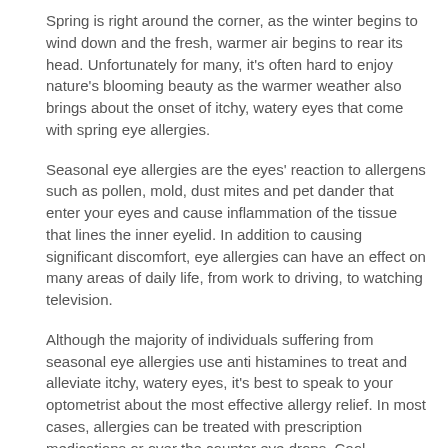Spring is right around the corner, as the winter begins to wind down and the fresh, warmer air begins to rear its head. Unfortunately for many, it's often hard to enjoy nature's blooming beauty as the warmer weather also brings about the onset of itchy, watery eyes that come with spring eye allergies.
Seasonal eye allergies are the eyes' reaction to allergens such as pollen, mold, dust mites and pet dander that enter your eyes and cause inflammation of the tissue that lines the inner eyelid. In addition to causing significant discomfort, eye allergies can have an effect on many areas of daily life, from work to driving, to watching television.
Although the majority of individuals suffering from seasonal eye allergies use anti histamines to treat and alleviate itchy, watery eyes, it's best to speak to your optometrist about the most effective allergy relief. In most cases, allergies can be treated with prescription medications or over the counter eye drops. Cool compresses can alleviate itchiness and swelling - a towel and some cold water may be all you need to inhibit the allergic cascade reaction and curb the urge to rub your eyes.